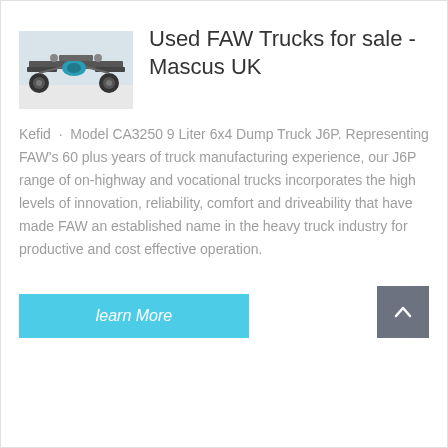[Figure (photo): Underside/chassis view of a FAW truck showing axles and mechanical components]
Used FAW Trucks for sale - Mascus UK
Kefid · Model CA3250 9 Liter 6x4 Dump Truck J6P. Representing FAW's 60 plus years of truck manufacturing experience, our J6P range of on-highway and vocational trucks incorporates the high levels of innovation, reliability, comfort and driveability that have made FAW an established name in the heavy truck industry for productive and cost effective operation.
learn More